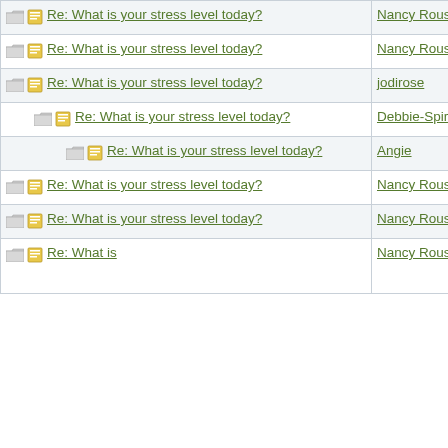| Topic | Author | Date |
| --- | --- | --- |
| Re: What is your stress level today? | Nancy Roussy | 10/30/17 03:03 PM |
| Re: What is your stress level today? | Nancy Roussy | 11/02/17 02:52 AM |
| Re: What is your stress level today? | jodirose | 11/02/17 07:50 PM |
| Re: What is your stress level today? | Debbie-SpiritualityEditor | 11/05/17 05:48 AM |
| Re: What is your stress level today? | Angie | 11/05/17 11:34 AM |
| Re: What is your stress level today? | Nancy Roussy | 11/05/17 06:19 PM |
| Re: What is your stress level today? | Nancy Roussy | 11/08/17 05:13 PM |
| Re: What is | Nancy Roussy | 11/14/17 12:06 AM |